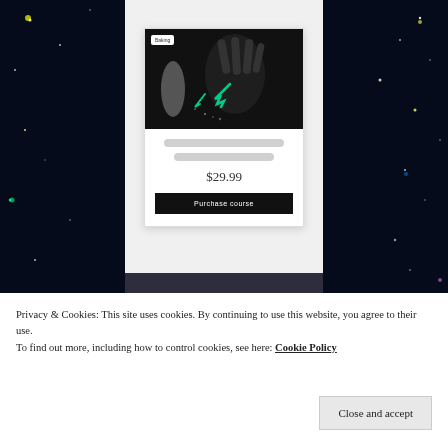[Figure (screenshot): WordPress website screenshot showing a product card with a dark artistic image of hands, price $29.99, and a Purchase Course button, on a starry night background with a dark footer showing Powered by WordPress.com]
Privacy & Cookies: This site uses cookies. By continuing to use this website, you agree to their use.
To find out more, including how to control cookies, see here: Cookie Policy
Close and accept